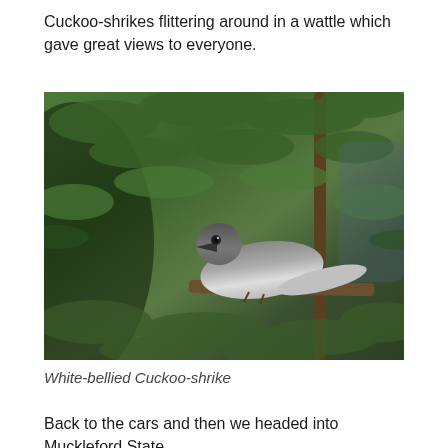Cuckoo-shrikes flittering around in a wattle which gave great views to everyone.
[Figure (photo): A White-bellied Cuckoo-shrike perched on a branch amid dense wattle foliage, showing its grey plumage, dark head and white belly.]
White-bellied Cuckoo-shrike
Back to the cars and then we headed into Muckleford State